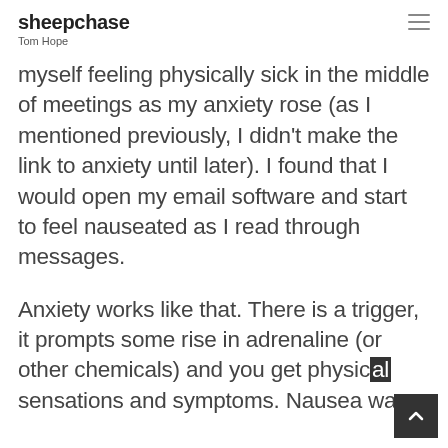sheepchase
Tom Hope
myself feeling physically sick in the middle of meetings as my anxiety rose (as I mentioned previously, I didn't make the link to anxiety until later). I found that I would open my email software and start to feel nauseated as I read through messages.
Anxiety works like that. There is a trigger, it prompts some rise in adrenaline (or other chemicals) and you get physical sensations and symptoms. Nausea was